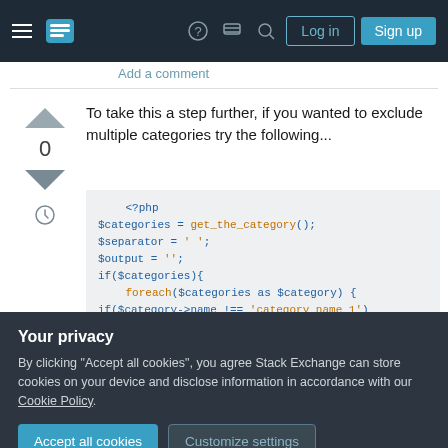[Figure (screenshot): Stack Exchange navigation bar with hamburger menu, logo, icons, Log in and Sign up buttons]
Add a comment
To take this a step further, if you wanted to exclude multiple categories try the following...
<?php
$categories = get_the_category();
$separator = ' ';
$output = '';
if($categories){
    foreach($categories as $category) {
if($category->name !== 'category name 1')
if($category->name !== 'category name 2')
Your privacy
By clicking "Accept all cookies", you agree Stack Exchange can store cookies on your device and disclose information in accordance with our Cookie Policy.
Accept all cookies
Customize settings